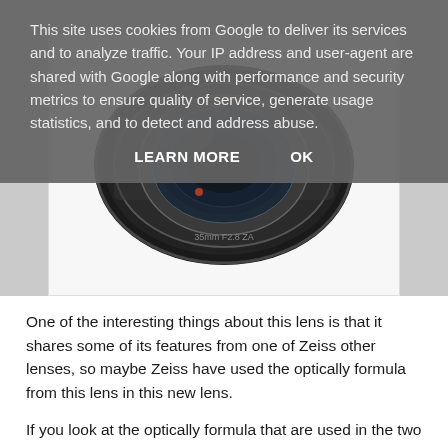[Figure (photo): Close-up photo of a black Sony/Zeiss camera lens (SEL35F28Z or similar) showing the front element and barrel, photographed against a light background.]
One of the interesting things about this lens is that it shares some of its features from one of Zeiss other lenses, so maybe Zeiss have used the optically formula from this lens in this new lens.
If you look at the optically formula that are used in the two lenses they are as follows:
Zeiss Sonnar T* FE 35mm F2.8 ZA (SEL35F28Z)
This site uses cookies from Google to deliver its services and to analyze traffic. Your IP address and user-agent are shared with Google along with performance and security metrics to ensure quality of service, generate usage statistics, and to detect and address abuse.
LEARN MORE    OK